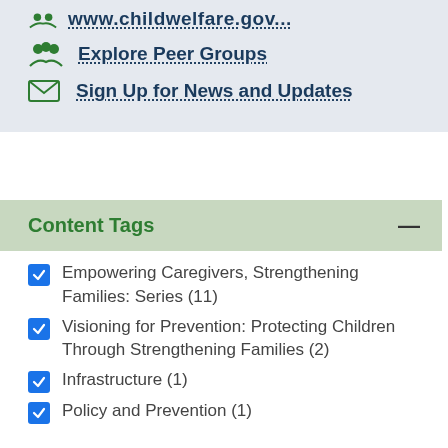Explore Peer Groups
Sign Up for News and Updates
Content Tags
Empowering Caregivers, Strengthening Families: Series (11)
Visioning for Prevention: Protecting Children Through Strengthening Families (2)
Infrastructure (1)
Policy and Prevention (1)